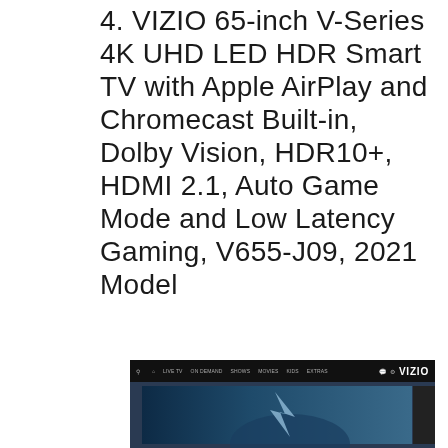4. VIZIO 65-inch V-Series 4K UHD LED HDR Smart TV with Apple AirPlay and Chromecast Built-in, Dolby Vision, HDR10+, HDMI 2.1, Auto Game Mode and Low Latency Gaming, V655-J09, 2021 Model
[Figure (screenshot): Screenshot of the VIZIO smart TV interface showing a navigation bar with VIZIO logo and a dark content area with a partially visible hero image]